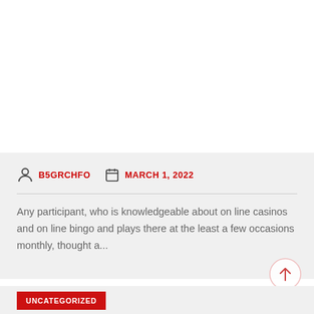B5GRCHFO   MARCH 1, 2022
Any participant, who is knowledgeable about on line casinos and on line bingo and plays there at the least a few occasions monthly, thought a...
UNCATEGORIZED